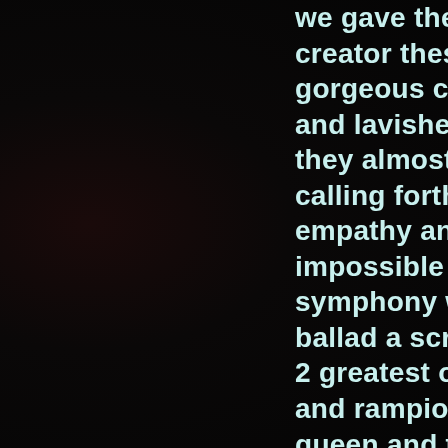we gave the with grace and more the creator these beautiful gods these gorgeous chances they took certa and lavished on them all divine tal they almost were because their po calling forth wonder their paintings empathy and feeling ah but their m impossible to describe compared symphony would be a dog barking ballad a scraping door our most liv 2 greatest of these musicians were and rampion the composer excelc queen and truly she was no man w did not fall in love for she looked li sang like the widowed isis her wo by athene herself but her manner w